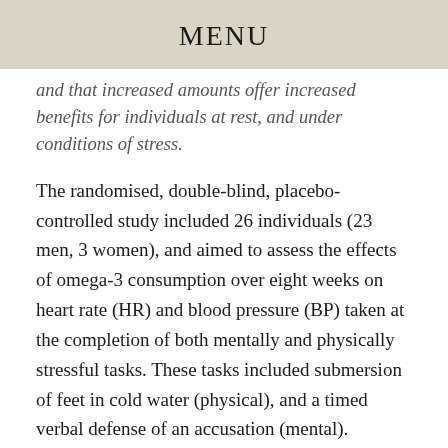MENU
and that increased amounts offer increased benefits for individuals at rest, and under conditions of stress.
The randomised, double-blind, placebo-controlled study included 26 individuals (23 men, 3 women), and aimed to assess the effects of omega-3 consumption over eight weeks on heart rate (HR) and blood pressure (BP) taken at the completion of both mentally and physically stressful tasks. These tasks included submersion of feet in cold water (physical), and a timed verbal defense of an accusation (mental). Participants were assigned to a high dose omega-3 group (3.4 grams EPA+DHA daily), a low-dose group (0.85 grams EPA+DHA daily), or a placebo group that received corn oil. Subjects were advised against potentially confounding dietary variables (e.g., fish consumption), and compliance was excellent at more